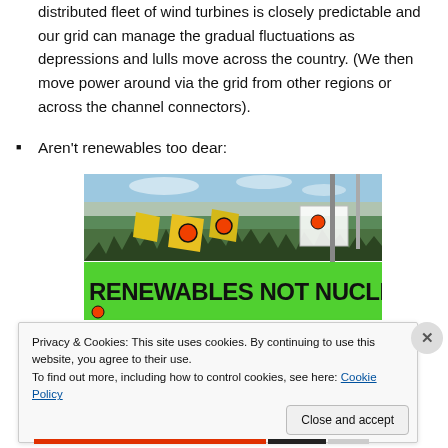distributed fleet of wind turbines is closely predictable and our grid can manage the gradual fluctuations as depressions and lulls move across the country. (We then move power around via the grid from other regions or across the channel connectors).
Aren't renewables too dear:
[Figure (photo): Photograph of protesters holding a large green banner reading 'RENEWABLES NOT NUCLEAR' with yellow flags and people in hi-vis jackets]
Privacy & Cookies: This site uses cookies. By continuing to use this website, you agree to their use.
To find out more, including how to control cookies, see here: Cookie Policy
Close and accept